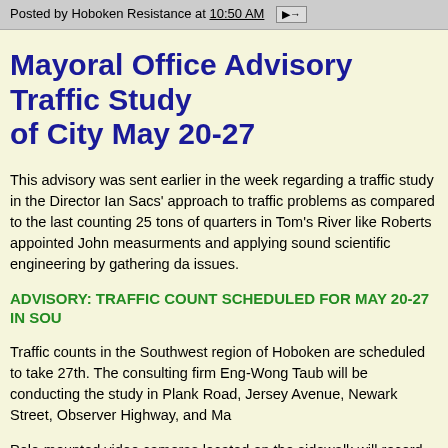Posted by Hoboken Resistance at 10:50 AM
Mayoral Office Advisory Traffic Study of City May 20-27
This advisory was sent earlier in the week regarding a traffic study in the Director Ian Sacs' approach to traffic problems as compared to the last counting 25 tons of quarters in Tom's River like Roberts appointed John measurments and applying sound scientific engineering by gathering da issues.
ADVISORY: TRAFFIC COUNT SCHEDULED FOR MAY 20-27 IN SOU
Traffic counts in the Southwest region of Hoboken are scheduled to take 27th. The consulting firm Eng-Wong Taub will be conducting the study in Plank Road, Jersey Avenue, Newark Street, Observer Highway, and Ma
Pole-mounted video cameras located on the sidewalk will record, count, through the intersections. Automatic Traffic Recorders will also be install
The count is taking place to resolve long standing congestion problems overlapping local and through traffic and to reevaluate this area for inco pedestrian and bicycle access. Both Hoboken and Jersey City have rec